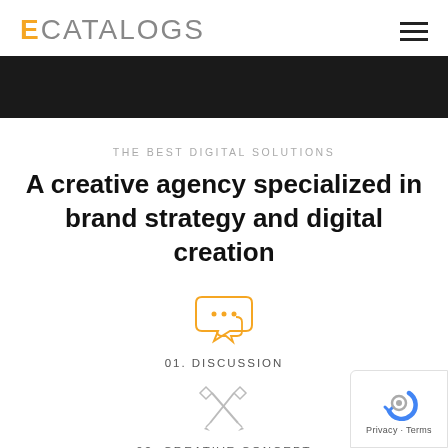ECATALOGS
[Figure (illustration): Black horizontal banner bar]
THE BEST DIGITAL SOLUTIONS
A creative agency specialized in brand strategy and digital creation
[Figure (illustration): Orange speech bubble icon with three dots]
01. DISCUSSION
[Figure (illustration): Gray pencil and ruler crossed icon]
02. CREATIVE CONCEPT